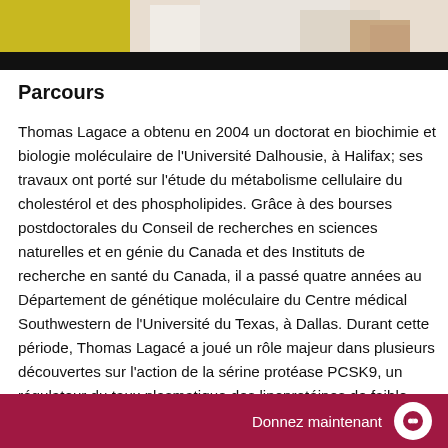[Figure (photo): Top portion of page showing a person in a white lab coat with a yellow element and dark bar below]
Parcours
Thomas Lagace a obtenu en 2004 un doctorat en biochimie et biologie moléculaire de l'Université Dalhousie, à Halifax; ses travaux ont porté sur l'étude du métabolisme cellulaire du cholestérol et des phospholipides. Grâce à des bourses postdoctorales du Conseil de recherches en sciences naturelles et en génie du Canada et des Instituts de recherche en santé du Canada, il a passé quatre années au Département de génétique moléculaire du Centre médical Southwestern de l'Université du Texas, à Dallas. Durant cette période, Thomas Lagacé a joué un rôle majeur dans plusieurs découvertes sur l'action de la sérine protéase PCSK9, un régulateur du taux plasmatique des lipoprotéines de faible densité nouvellement détecté, que
Donnez maintenant